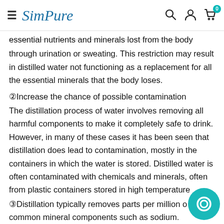SimPure [hamburger menu, search, account, cart with badge 0]
essential nutrients and minerals lost from the body through urination or sweating. This restriction may result in distilled water not functioning as a replacement for all the essential minerals that the body loses.
②Increase the chance of possible contamination
The distillation process of water involves removing all harmful components to make it completely safe to drink. However, in many of these cases it has been seen that distillation does lead to contamination, mostly in the containers in which the water is stored. Distilled water is often contaminated with chemicals and minerals, often from plastic containers stored in high temperature
③Distillation typically removes parts per million of common mineral components such as sodium. However,